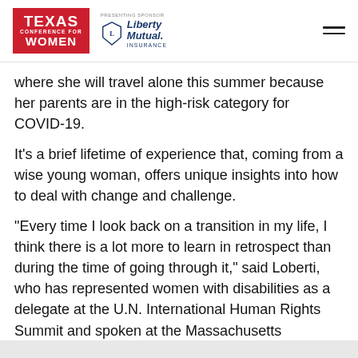[Figure (logo): Texas Conference for Women logo (red background with white text) alongside Liberty Mutual Insurance presenting sponsor logo, and a hamburger menu icon on the right]
where she will travel alone this summer because her parents are in the high-risk category for COVID-19.
It’s a brief lifetime of experience that, coming from a wise young woman, offers unique insights into how to deal with change and challenge.
“Every time I look back on a transition in my life, I think there is a lot more to learn in retrospect than during the time of going through it,” said Loberti, who has represented women with disabilities as a delegate at the U.N. International Human Rights Summit and spoken at the Massachusetts Conference for Women.